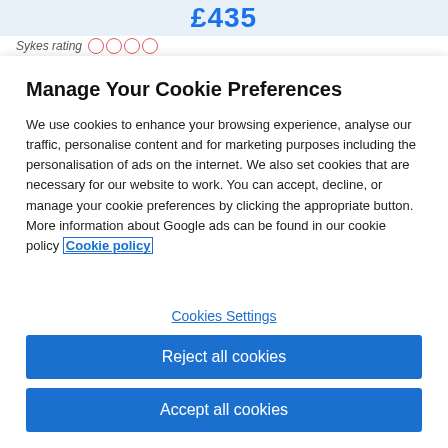£435
Sykes rating
Manage Your Cookie Preferences
We use cookies to enhance your browsing experience, analyse our traffic, personalise content and for marketing purposes including the personalisation of ads on the internet. We also set cookies that are necessary for our website to work. You can accept, decline, or manage your cookie preferences by clicking the appropriate button. More information about Google ads can be found in our cookie policy Cookie policy
Cookies Settings
Reject all cookies
Accept all cookies